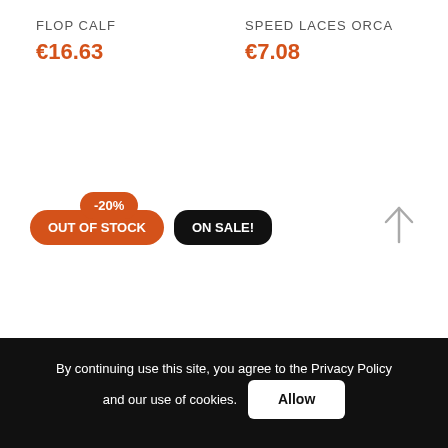FLOP CALF
€16.63
SPEED LACES ORCA
€7.08
-20%
OUT OF STOCK
ON SALE!
[Figure (other): Up arrow icon for scroll to top]
By continuing use this site, you agree to the Privacy Policy and our use of cookies.
Allow